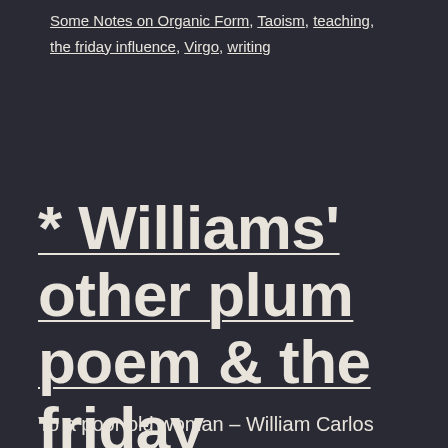Some Notes on Organic Form, Taoism, teaching, the friday influence, Virgo, writing
* Williams' other plum poem & the friday influence
To a poor old woman – William Carlos